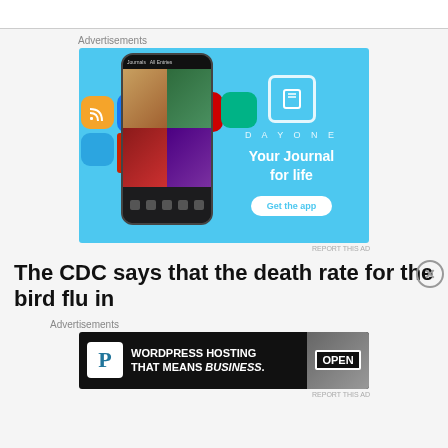[Figure (screenshot): Top gray/white bar area placeholder]
Advertisements
[Figure (photo): DayOne app advertisement with light blue background showing phone mockup, app icons (RSS, Facebook, YouTube, Telegram), DayOne logo, tagline 'Your Journal for life', and 'Get the app' button]
REPORT THIS AD
The CDC says that the death rate for the bird flu in
Advertisements
[Figure (photo): WordPress Hosting advertisement with dark background, WordPress P icon, text 'WORDPRESS HOSTING THAT MEANS BUSINESS.' and an OPEN sign image]
REPORT THIS AD